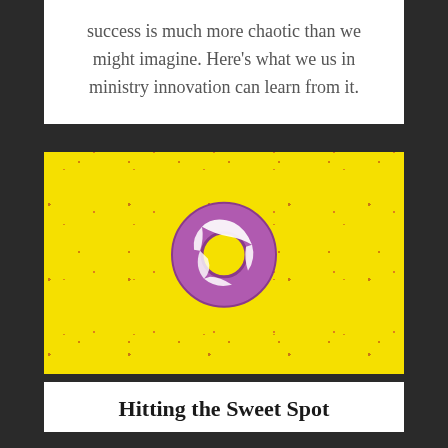success is much more chaotic than we might imagine. Here's what we us in ministry innovation can learn from it.
[Figure (photo): A purple glazed donut with white icing drizzle on a bright yellow background with small red/brown speckles scattered around]
Hitting the Sweet Spot